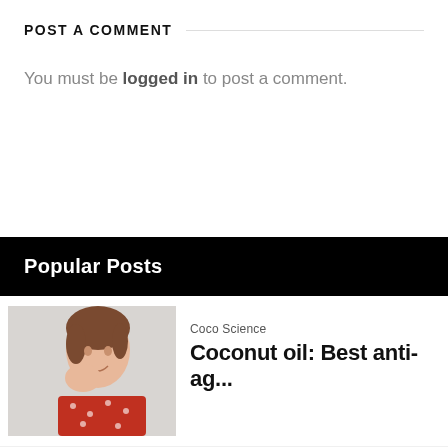POST A COMMENT
You must be logged in to post a comment.
Popular Posts
[Figure (photo): Woman smiling and touching her face, wearing a red polka dot top, light grey background]
Coco Science
Coconut oil: Best anti-ag...
[Figure (photo): Light grey placeholder thumbnail for second post]
Hair
Pure Coconut oil mixed wi...